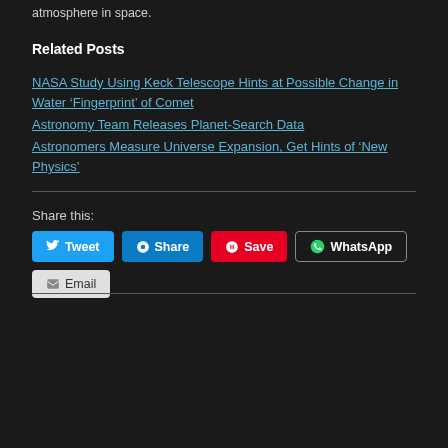atmosphere in space.
Related Posts
NASA Study Using Keck Telescope Hints at Possible Change in Water ‘Fingerprint’ of Comet
Astronomy Team Releases Planet-Search Data
Astronomers Measure Universe Expansion, Get Hints of ‘New Physics’
Share this:
Tweet  Share  Save  WhatsApp  Email